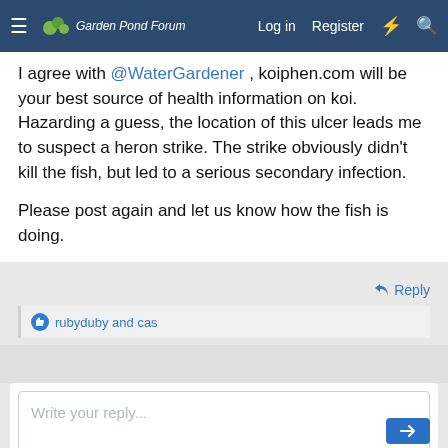Garden Pond Forum | Log in | Register
I agree with @WaterGardener , koiphen.com will be your best source of health information on koi. Hazarding a guess, the location of this ulcer leads me to suspect a heron strike. The strike obviously didn't kill the fish, but led to a serious secondary infection.

Please post again and let us know how the fish is doing.
Reply
rubyduby and cas
Write your reply...